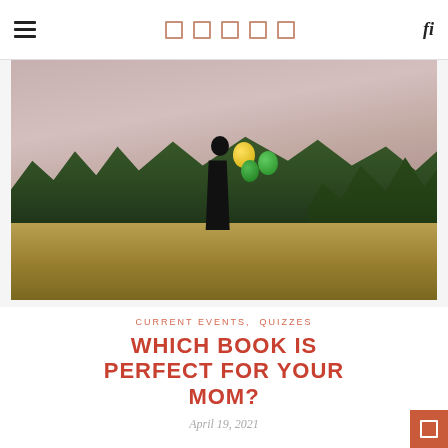Navigation bar with hamburger menu, social icons, and search
[Figure (photo): A woman in black clothing holding a child outdoors in a golden field with trees in the background and colorful balloons (yellow and green). Dusky sky with pink-purple tones.]
CURRENT EVENTS,  QUIZZES
WHICH BOOK IS PERFECT FOR YOUR MOM?
April 19, 2021